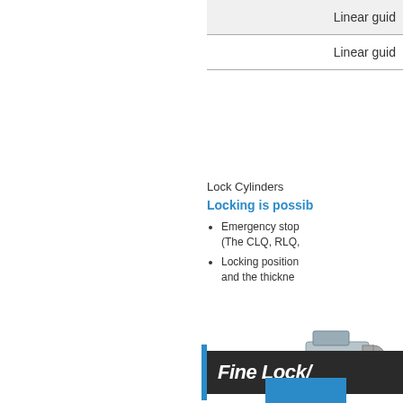Linear guid
Linear guid
Lock Cylinders
Locking is possib
Emergency stop (The CLQ, RLQ,
Locking position and the thickne
Fine Lock/
[Figure (illustration): Blue chevron/up-arrow button icon]